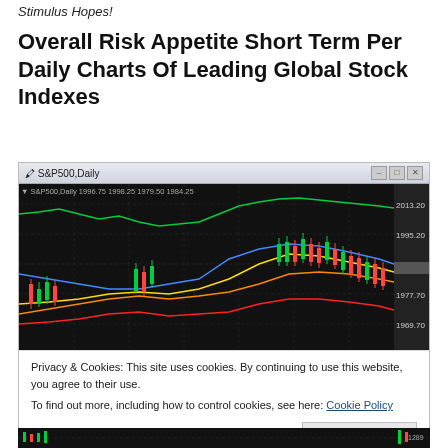Stimulus Hopes!
Overall Risk Appetite Short Term Per Daily Charts Of Leading Global Stock Indexes
[Figure (screenshot): S&P500 Daily candlestick chart screenshot showing price action with multiple moving average lines (green, blue, yellow, orange, red) on a black background. Price labels on right show 2013.20, 1995.20, 1984.25, 1977.70, 1969.70. Top bar shows: S&P500,Daily 1996.75 1998.25 1979.50 1984.25]
Privacy & Cookies: This site uses cookies. By continuing to use this website, you agree to their use.
To find out more, including how to control cookies, see here: Cookie Policy
[Figure (screenshot): Bottom partial strip of another daily candlestick chart on black background, partially visible]